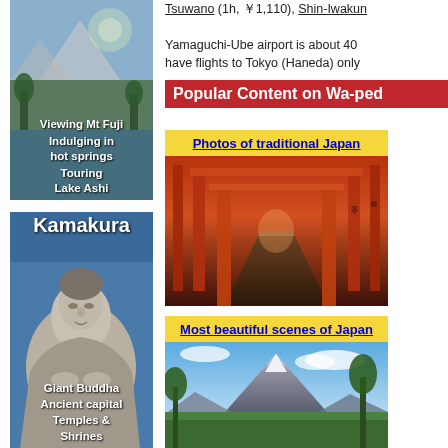[Figure (illustration): Hakone travel card with mountain/lake scenery background, white italic text 'Hakone' at top, items: Viewing Mt Fuji, Indulging in hot springs, Touring Lake Ashi]
[Figure (illustration): Kamakura travel card with Great Buddha statue image, white text title 'Kamakura', items: Giant Buddha, Ancient capital, Temples & Shrines]
Tsuwano (1h, ¥1,110), Shin-Iwakun... Yamaguchi-Ube airport is about 40... have flights to Tokyo (Haneda) only...
Popular Content on Wa-ped...
Photos of traditional Japan
[Figure (photo): Torii gates corridor at Fushimi Inari shrine, long tunnel of orange-red gates leading into distance]
Most beautiful scenes of Japan
[Figure (photo): Mt Fuji scenic view with blue sky, clouds, green trees in foreground]